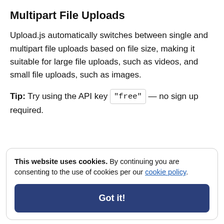Multipart File Uploads
Upload.js automatically switches between single and multipart file uploads based on file size, making it suitable for large file uploads, such as videos, and small file uploads, such as images.
Tip: Try using the API key "free" — no sign up required.
This website uses cookies. By continuing you are consenting to the use of cookies per our cookie policy.
Got it!